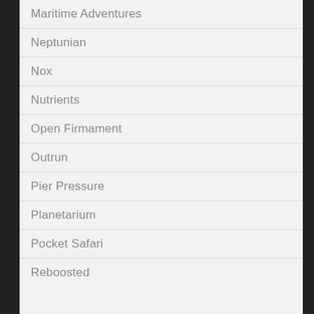Maritime Adventures
Neptunian
Nox
Nutrients
Open Firmament
Outrun
Pier Pressure
Planetarium
Pocket Safari
Reboosted